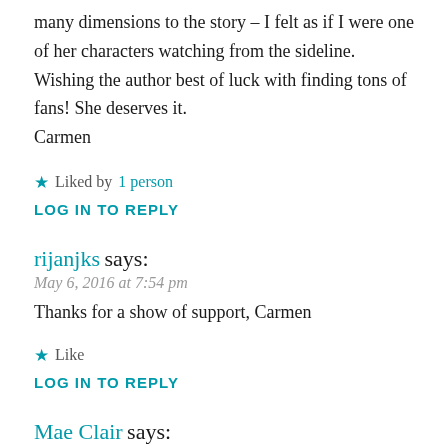many dimensions to the story – I felt as if I were one of her characters watching from the sideline.
Wishing the author best of luck with finding tons of fans! She deserves it.
Carmen
★ Liked by 1 person
LOG IN TO REPLY
rijanjks says:
May 6, 2016 at 7:54 pm
Thanks for a show of support, Carmen
★ Like
LOG IN TO REPLY
Mae Clair says:
May 6, 2016 at 11:16 pm
Aww, you are so sweet Carmen. I so appreciate your support